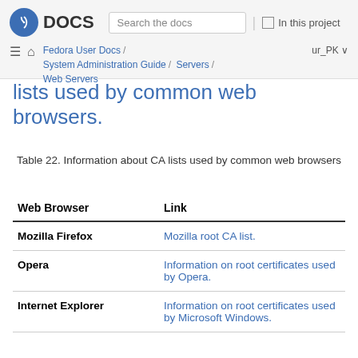Fedora DOCS — Search the docs | In this project — Fedora User Docs / System Administration Guide / Servers / Web Servers — ur_PK
lists used by common web browsers.
Table 22. Information about CA lists used by common web browsers
| Web Browser | Link |
| --- | --- |
| Mozilla Firefox | Mozilla root CA list. |
| Opera | Information on root certificates used by Opera. |
| Internet Explorer | Information on root certificates used by Microsoft Windows. |